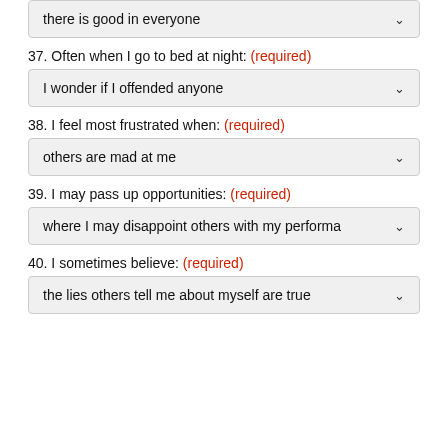there is good in everyone
37. Often when I go to bed at night: (required)
I wonder if I offended anyone
38. I feel most frustrated when: (required)
others are mad at me
39. I may pass up opportunities: (required)
where I may disappoint others with my performance
40. I sometimes believe: (required)
the lies others tell me about myself are true